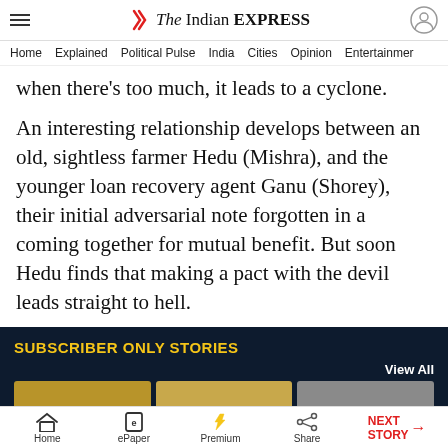The Indian EXPRESS — Home | Explained | Political Pulse | India | Cities | Opinion | Entertainment
when there's too much, it leads to a cyclone.
An interesting relationship develops between an old, sightless farmer Hedu (Mishra), and the younger loan recovery agent Ganu (Shorey), their initial adversarial note forgotten in a coming together for mutual benefit. But soon Hedu finds that making a pact with the devil leads straight to hell.
SUBSCRIBER ONLY STORIES
View All
Home | ePaper | Premium | Share | NEXT STORY